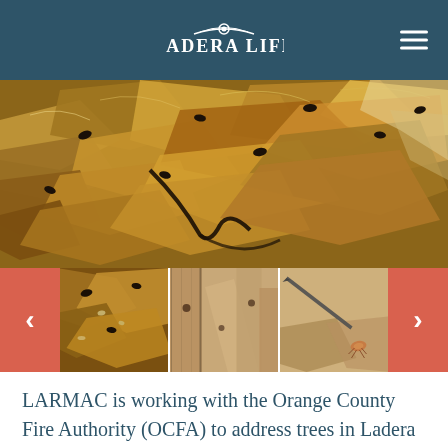LADERA LIFE
[Figure (photo): Close-up photo of wood/bark infested with Invasive Shot Hole Borer beetles — dark oval beetles visible on brown fibrous wood material]
[Figure (photo): Thumbnail image carousel with navigation arrows showing three thumbnail images of beetle-infested trees and wood, with coral/salmon colored previous and next arrow buttons]
LARMAC is working with the Orange County Fire Authority (OCFA) to address trees in Ladera Ranch that are infested with Invasive Shot Hole Borer (ISHB).